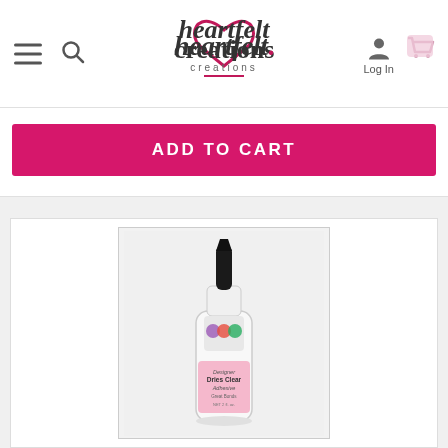Heartfelt Creations — navigation bar with hamburger menu, search, logo, log in, and cart icons
ADD TO CART
[Figure (photo): A bottle of Designer Dries Clear Adhesive glue with a black precision tip nozzle and colorful label on a white/light grey background.]